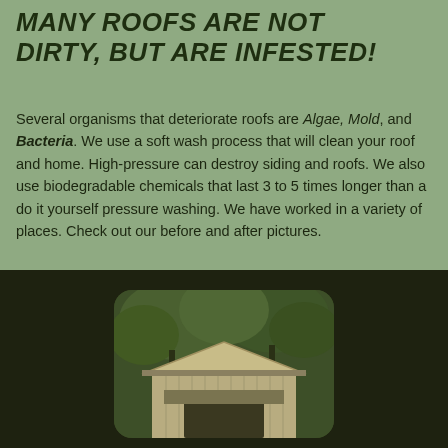MANY ROOFS ARE NOT DIRTY, BUT ARE INFESTED!
Several organisms that deteriorate roofs are Algae, Mold, and Bacteria. We use a soft wash process that will clean your roof and home. High-pressure can destroy siding and roofs. We also use biodegradable chemicals that last 3 to 5 times longer than a do it yourself pressure washing. We have worked in a variety of places. Check out our before and after pictures.
[Figure (photo): Photo of a small building or covered bridge with a peaked roof, surrounded by green trees, viewed from the front.]